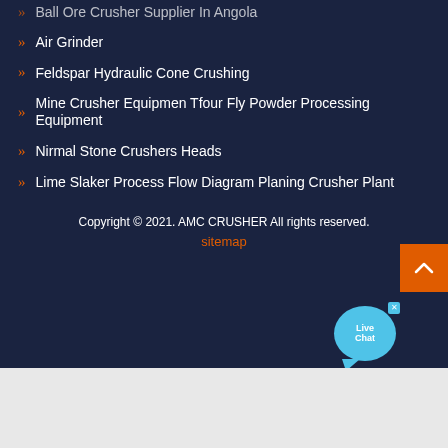Ball Ore Crusher Supplier In Angola
Air Grinder
Feldspar Hydraulic Cone Crushing
Mine Crusher Equipmen Tfour Fly Powder Processing Equipment
Nirmal Stone Crushers Heads
Lime Slaker Process Flow Diagram Planing Crusher Plant
Copyright © 2021. AMC CRUSHER All rights reserved. sitemap